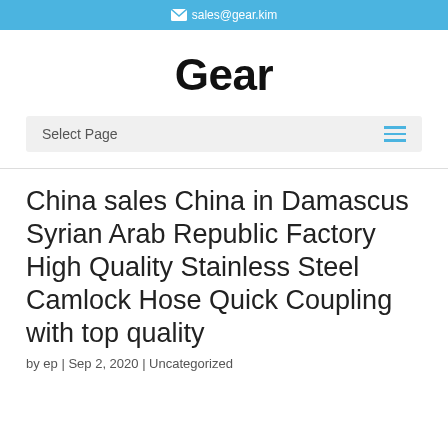sales@gear.kim
Gear
Select Page
China sales China in Damascus Syrian Arab Republic Factory High Quality Stainless Steel Camlock Hose Quick Coupling with top quality
by ep | Sep 2, 2020 | Uncategorized